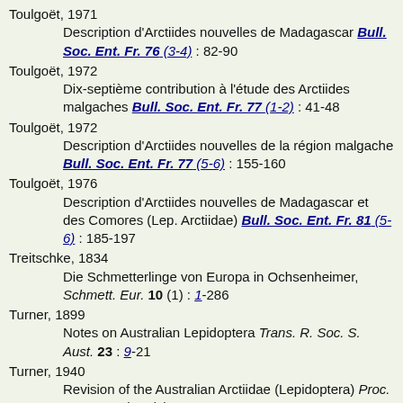Toulgoët, 1971
    Description d'Arctiides nouvelles de Madagascar Bull. Soc. Ent. Fr. 76 (3-4) : 82-90
Toulgoët, 1972
    Dix-septième contribution à l'étude des Arctiides malgaches Bull. Soc. Ent. Fr. 77 (1-2) : 41-48
Toulgoët, 1972
    Description d'Arctiides nouvelles de la région malgache Bull. Soc. Ent. Fr. 77 (5-6) : 155-160
Toulgoët, 1976
    Description d'Arctiides nouvelles de Madagascar et des Comores (Lep. Arctiidae) Bull. Soc. Ent. Fr. 81 (5-6) : 185-197
Treitschke, 1834
    Die Schmetterlinge von Europa in Ochsenheimer, Schmett. Eur. 10 (1) : 1-286
Turner, 1899
    Notes on Australian Lepidoptera Trans. R. Soc. S. Aust. 23 : 9-21
Turner, 1940
    Revision of the Australian Arctiidae (Lepidoptera) Proc. R. Soc. Qd 51 (6) : 51-131
Walker, 1854; Walker, 1856
    List of the Specimens of Lepidopterous Insects in the Collection of the British Museum List